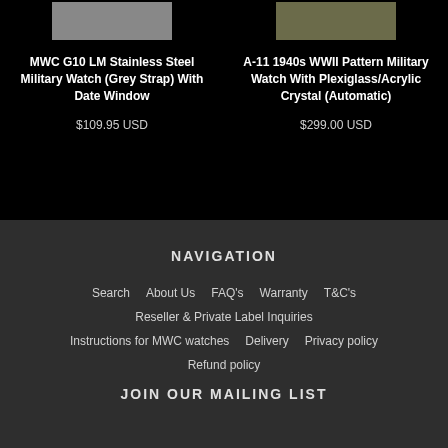[Figure (photo): Grey textile watch strap image (left product)]
MWC G10 LM Stainless Steel Military Watch (Grey Strap) With Date Window
$109.95 USD
[Figure (photo): Olive/khaki textile watch strap image (right product)]
A-11 1940s WWII Pattern Military Watch With Plexiglass/Acrylic Crystal (Automatic)
$299.00 USD
NAVIGATION
Search
About Us
FAQ's
Warranty
T&C's
Reseller & Private Label Inquiries
Instructions for MWC watches
Delivery
Privacy policy
Refund policy
JOIN OUR MAILING LIST